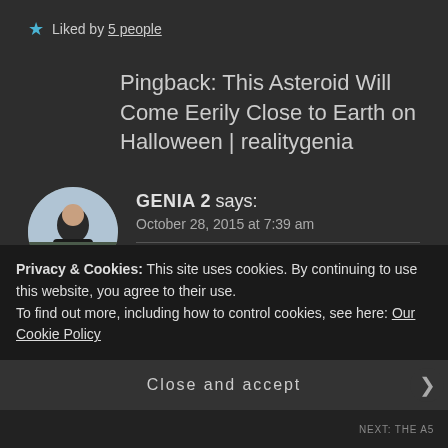Liked by 5 people
Pingback: This Asteroid Will Come Eerily Close to Earth on Halloween | realitygenia
GENIA 2 says:
October 28, 2015 at 7:39 am
Reblogged this on realitygenia and
Privacy & Cookies: This site uses cookies. By continuing to use this website, you agree to their use.
To find out more, including how to control cookies, see here: Our Cookie Policy
Close and accept
NEXT: THE A5